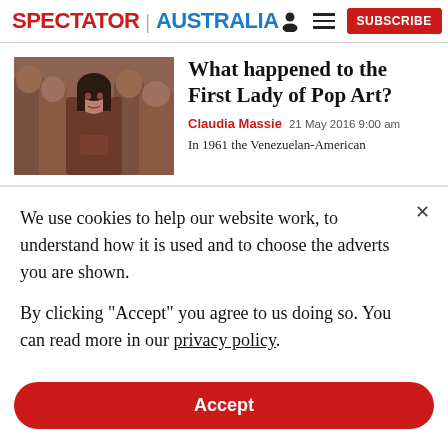SPECTATOR | AUSTRALIA  [person icon] [menu icon] SUBSCRIBE
[Figure (photo): A woman with dark hair standing in front of wooden sculptural figures, brownish warm tones]
What happened to the First Lady of Pop Art?
Claudia Massie  21 May 2016 9:00 am
In 1961 the Venezuelan-American
We use cookies to help our website work, to understand how it is used and to choose the adverts you are shown.
By clicking "Accept" you agree to us doing so. You can read more in our privacy policy.
Accept